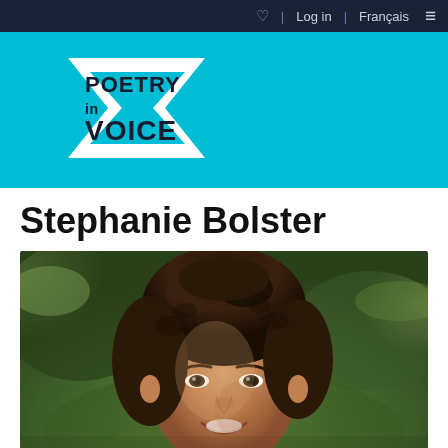Log in | Français
[Figure (logo): Poetry in Voice logo on cyan/turquoise background with angular chevron shape]
Stephanie Bolster
[Figure (photo): Portrait photo of Stephanie Bolster, a woman with curly dark brown hair, smiling, with green foliage background]